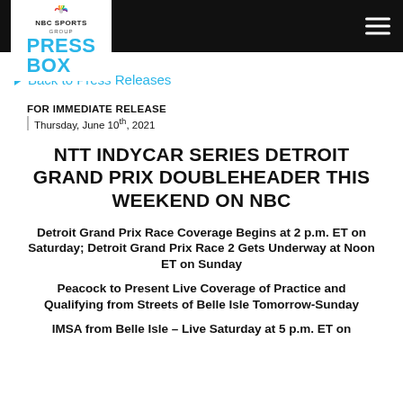[Figure (logo): NBC Sports Group Press Box logo with peacock icon in white box on black header bar]
Back to Press Releases
FOR IMMEDIATE RELEASE
Thursday, June 10th, 2021
NTT INDYCAR SERIES DETROIT GRAND PRIX DOUBLEHEADER THIS WEEKEND ON NBC
Detroit Grand Prix Race Coverage Begins at 2 p.m. ET on Saturday; Detroit Grand Prix Race 2 Gets Underway at Noon ET on Sunday
Peacock to Present Live Coverage of Practice and Qualifying from Streets of Belle Isle Tomorrow-Sunday
IMSA from Belle Isle – Live Saturday at 5 p.m. ET on